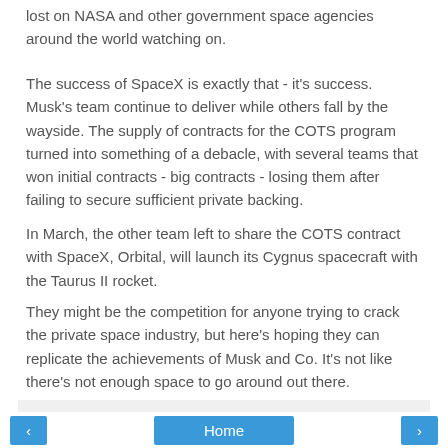lost on NASA and other government space agencies around the world watching on.
The success of SpaceX is exactly that - it's success. Musk's team continue to deliver while others fall by the wayside. The supply of contracts for the COTS program turned into something of a debacle, with several teams that won initial contracts - big contracts - losing them after failing to secure sufficient private backing.
In March, the other team left to share the COTS contract with SpaceX, Orbital, will launch its Cygnus spacecraft with the Taurus II rocket.
They might be the competition for anyone trying to crack the private space industry, but here's hoping they can replicate the achievements of Musk and Co. It's not like there's not enough space to go around out there.
Peter Farquhar at 7:49 AM
Home